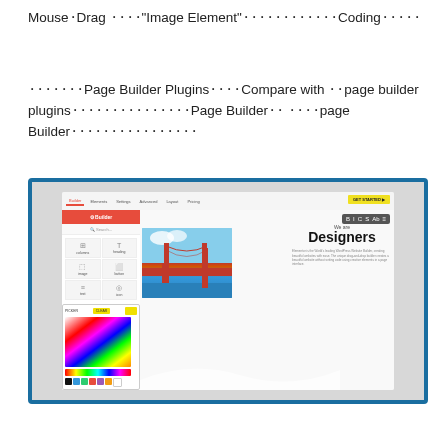Mouse⬝Drag ⬝⬝⬝⬝"Image Element"⬝⬝⬝⬝⬝⬝⬝⬝⬝⬝⬝⬝Coding⬝⬝⬝⬝⬝
⬝⬝⬝⬝⬝⬝⬝Page Builder Plugins⬝⬝⬝⬝Compare with ⬝⬝page builder plugins⬝⬝⬝⬝⬝⬝⬝⬝⬝⬝⬝⬝⬝⬝⬝Page Builder⬝⬝ ⬝⬝⬝⬝page Builder⬝⬝⬝⬝⬝⬝⬝⬝⬝⬝⬝⬝⬝⬝⬝⬝
[Figure (screenshot): Screenshot of a page builder interface showing a sidebar with element icons, a color picker tool, and a main content area displaying 'We are Designers' with a Golden Gate Bridge image.]